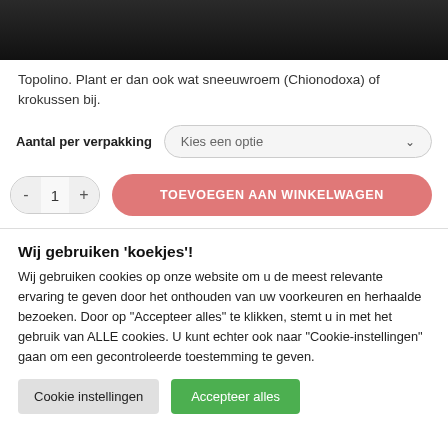[Figure (photo): Dark top banner image, partially visible plant/flower photo]
Topolino. Plant er dan ook wat sneeuwroem (Chionodoxa) of krokussen bij.
Aantal per verpakking    Kies een optie
- 1 +   TOEVOEGEN AAN WINKELWAGEN
Wij gebruiken 'koekjes'!
Wij gebruiken cookies op onze website om u de meest relevante ervaring te geven door het onthouden van uw voorkeuren en herhaalde bezoeken. Door op "Accepteer alles" te klikken, stemt u in met het gebruik van ALLE cookies. U kunt echter ook naar "Cookie-instellingen" gaan om een gecontroleerde toestemming te geven.
Cookie instellingen   Accepteer alles